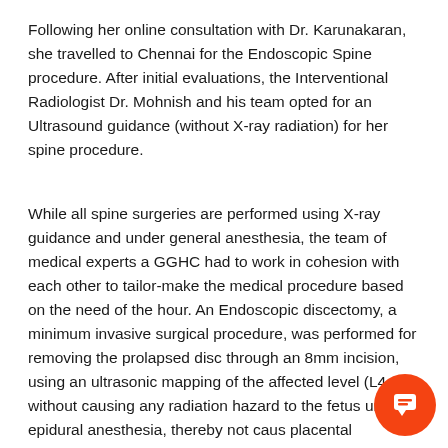Following her online consultation with Dr. Karunakaran, she travelled to Chennai for the Endoscopic Spine procedure. After initial evaluations, the Interventional Radiologist Dr. Mohnish and his team opted for an Ultrasound guidance (without X-ray radiation) for her spine procedure.
While all spine surgeries are performed using X-ray guidance and under general anesthesia, the team of medical experts a GGHC had to work in cohesion with each other to tailor-make the medical procedure based on the need of the hour. An Endoscopic discectomy, a minimum invasive surgical procedure, was performed for removing the prolapsed disc through an 8mm incision, using an ultrasonic mapping of the affected level (L4-L5) without causing any radiation hazard to the fetus under epidural anesthesia, thereby not caus placental exchange of hazardous general anesthesia